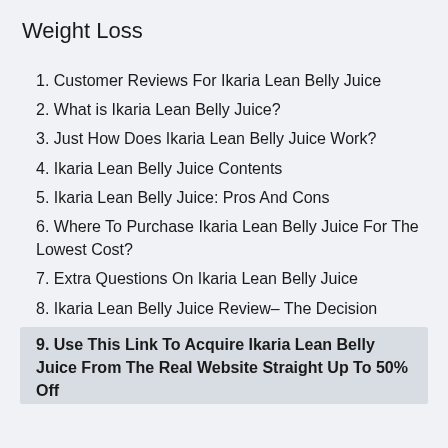Weight Loss
1. Customer Reviews For Ikaria Lean Belly Juice
2. What is Ikaria Lean Belly Juice?
3. Just How Does Ikaria Lean Belly Juice Work?
4. Ikaria Lean Belly Juice Contents
5. Ikaria Lean Belly Juice: Pros And Cons
6. Where To Purchase Ikaria Lean Belly Juice For The Lowest Cost?
7. Extra Questions On Ikaria Lean Belly Juice
8. Ikaria Lean Belly Juice Review– The Decision
9. Use This Link To Acquire Ikaria Lean Belly Juice From The Real Website Straight Up To 50% Off